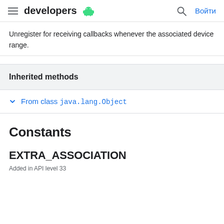developers [Android logo] [Search] Войти
Unregister for receiving callbacks whenever the associated device range.
Inherited methods
From class java.lang.Object
Constants
EXTRA_ASSOCIATION
Added in API level 33